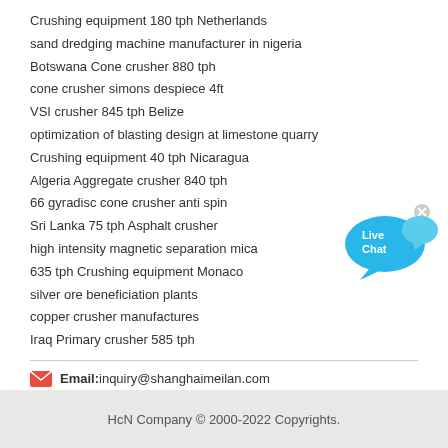Crushing equipment 180 tph Netherlands
sand dredging machine manufacturer in nigeria
Botswana Cone crusher 880 tph
cone crusher simons despiece 4ft
VSI crusher 845 tph Belize
optimization of blasting design at limestone quarry
Crushing equipment 40 tph Nicaragua
Algeria Aggregate crusher 840 tph
66 gyradisc cone crusher anti spin
Sri Lanka 75 tph Asphalt crusher
high intensity magnetic separation mica
635 tph Crushing equipment Monaco
silver ore beneficiation plants
copper crusher manufactures
Iraq Primary crusher 585 tph
[Figure (illustration): Live Chat bubble icon in blue]
Email: inquiry@shanghaimeilan.com
HcN Company © 2000-2022 Copyrights.